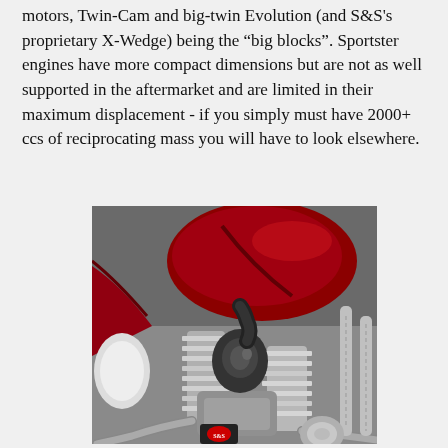motors, Twin-Cam and big-twin Evolution (and S&S's proprietary X-Wedge) being the "big blocks". Sportster engines have more compact dimensions but are not as well supported in the aftermarket and are limited in their maximum displacement - if you simply must have 2000+ ccs of reciprocating mass you will have to look elsewhere.
[Figure (photo): Close-up photograph of a large V-twin motorcycle engine with chrome cooling fins, polished metal surfaces, and red painted bodywork including the fuel tank visible above. The engine shows detailed fin work, exhaust pipes, and mechanical components typical of a large-displacement American V-twin engine.]